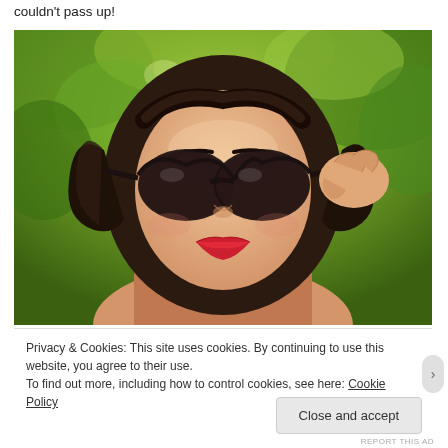couldn't pass up!
[Figure (photo): A woman with vintage-style wavy dark hair, wearing cat-eye sunglasses and red lipstick, holding her sunglasses with one hand, photographed outdoors with green foliage in the background.]
Privacy & Cookies: This site uses cookies. By continuing to use this website, you agree to their use.
To find out more, including how to control cookies, see here: Cookie Policy
Close and accept